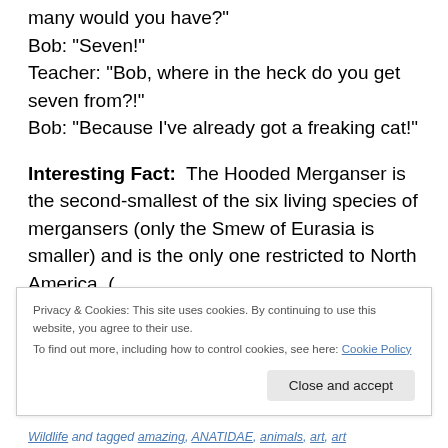many would you have?"
Bob: “Seven!"
Teacher: “Bob, where in the heck do you get seven from?!"
Bob: “Because I’ve already got a freaking cat!"
Interesting Fact:  The Hooded Merganser is the second-smallest of the six living species of mergansers (only the Smew of Eurasia is smaller) and is the only one restricted to North America. (
Privacy & Cookies: This site uses cookies. By continuing to use this website, you agree to their use.
To find out more, including how to control cookies, see here: Cookie Policy
Wildlife and tagged amazing, ANATIDAE, animals, art, art